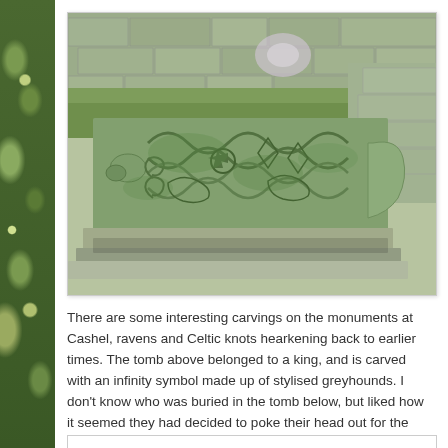[Figure (photo): A stone tomb or sarcophagus with intricate Celtic knotwork carvings and stylised greyhound infinity symbols on its side, situated outdoors against stone wall ruins, with moss and green patina covering the stonework.]
There are some interesting carvings on the monuments at Cashel, ravens and Celtic knots hearkening back to earlier times. The tomb above belonged to a king, and is carved with an infinity symbol made up of stylised greyhounds. I don't know who was buried in the tomb below, but liked how it seemed they had decided to poke their head out for the photo…